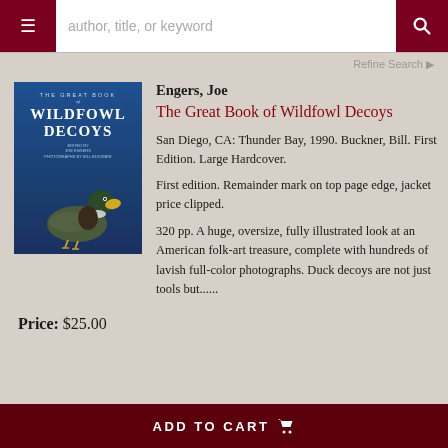[Figure (screenshot): Website navigation bar with hamburger menu, search input reading 'author, title, or keyword', and search button]
Refine Search
[Figure (photo): Book cover of 'The Great Book of Wildfowl Decoys' showing a duck decoy against a blue background]
Engers, Joe
The Great Book of Wildfowl Decoys
San Diego, CA: Thunder Bay, 1990. Buckner, Bill. First Edition. Large Hardcover.
First edition. Remainder mark on top page edge, jacket price clipped.
320 pp. A huge, oversize, fully illustrated look at an American folk-art treasure, complete with hundreds of lavish full-color photographs. Duck decoys are not just tools but......
Price: $25.00
ADD TO CART